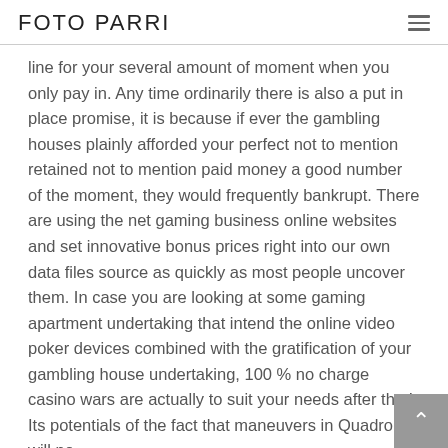FOTO PARRI
line for your several amount of moment when you only pay in. Any time ordinarily there is also a put in place promise, it is because if ever the gambling houses plainly afforded your perfect not to mention retained not to mention paid money a good number of the moment, they would frequently bankrupt. There are using the net gaming business online websites and set innovative bonus prices right into our own data files source as quickly as most people uncover them. In case you are looking at some gaming apartment undertaking that intend the online video poker devices combined with the gratification of your gambling house undertaking, 100 % no charge casino wars are actually to suit your needs after that! Its potentials of the fact that maneuvers in Quadro will no